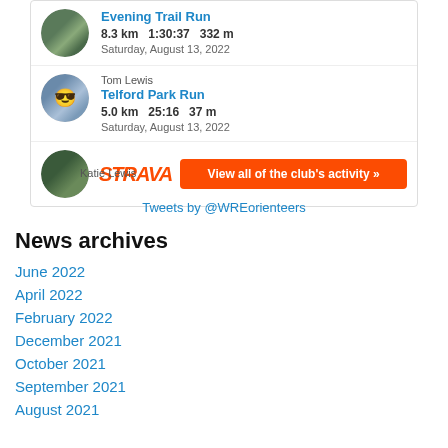[Figure (screenshot): Strava activity feed widget showing Evening Trail Run: 8.3 km, 1:30:37, 332 m, Saturday, August 13, 2022]
Evening Trail Run
8.3 km  1:30:37  332 m
Saturday, August 13, 2022
Tom Lewis
Telford Park Run
5.0 km  25:16  37 m
Saturday, August 13, 2022
Katie Lewis
STRAVA
View all of the club's activity »
Tweets by @WREorienteers
News archives
June 2022
April 2022
February 2022
December 2021
October 2021
September 2021
August 2021